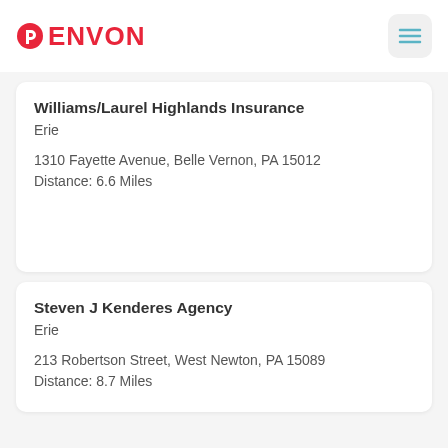PENVON
Williams/Laurel Highlands Insurance
Erie
1310 Fayette Avenue, Belle Vernon, PA 15012
Distance: 6.6 Miles
Steven J Kenderes Agency
Erie
213 Robertson Street, West Newton, PA 15089
Distance: 8.7 Miles